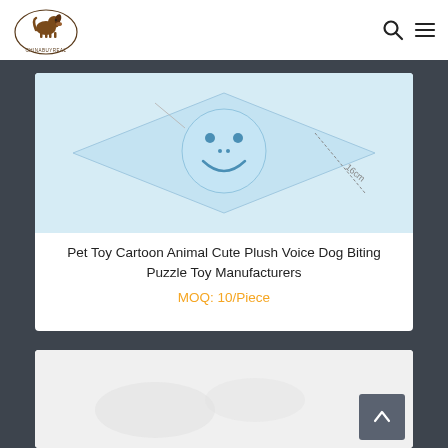ChinaBuyReal logo with search and menu icons
[Figure (photo): Product image of a plush pet toy with a smiley face on a light blue background, with a measurement annotation]
Pet Toy Cartoon Animal Cute Plush Voice Dog Biting Puzzle Toy Manufacturers
MOQ: 10/Piece
[Figure (photo): Partially visible product image on a light gray/white background with a scroll-to-top button in the bottom right corner]